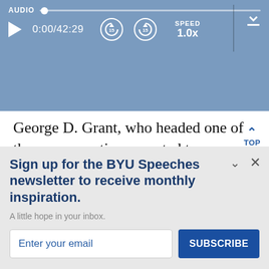[Figure (screenshot): Audio player bar showing AUDIO label, progress track with dot, play button, time 0:00/42:29, skip back 15 and skip forward 15 buttons, SPEED 1.0x, download button, and vertical divider]
George D. Grant, who headed one of the rescue parties, reported to President Young:
It is not of much use for me to attempt to give a description of the situation of these people, for th
Sign up for the BYU Speeches newsletter to receive monthly inspiration.
A little hope in your inbox.
Enter your email
SUBSCRIBE